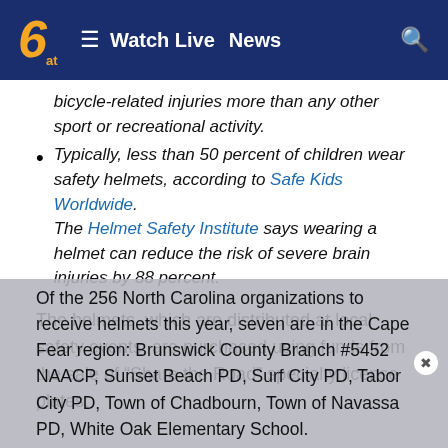Watch Live  News
bicycle-related injuries more than any other sport or recreational activity.
Typically, less than 50 percent of children wear safety helmets, according to Safe Kids Worldwide. The Helmet Safety Institute says wearing a helmet can reduce the risk of severe brain injuries by 88 percent.
The helmets, which are distributed at local safety events, are purchased using funds from the sale of “Share the Road” specialty license plates.
Of the 256 North Carolina organizations to receive helmets this year, seven are in the Cape Fear region: Brunswick County Branch #5452 NAACP, Sunset Beach PD, Surf City PD, Tabor City PD, Town of Chadbourn, Town of Navassa PD, White Oak Elementary School.